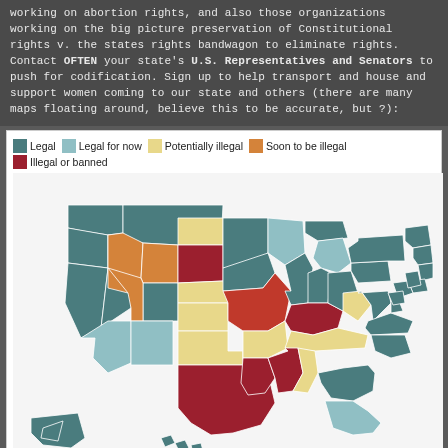working on abortion rights, and also those organizations working on the big picture preservation of Constitutional rights v. the states rights bandwagon to eliminate rights. Contact OFTEN your state's U.S. Representatives and Senators to push for codification. Sign up to help transport and house and support women coming to our state and others (there are many maps floating around, believe this to be accurate, but ?):
[Figure (map): US map showing abortion legal status by state. Legend: Legal (dark teal), Legal for now (light blue), Potentially illegal (light yellow/tan), Soon to be illegal (orange), Illegal or banned (dark red/crimson). Western states mostly legal (dark teal). Mountain states mixed orange/teal. South Dakota, parts of midwest dark red. Texas, Louisiana dark red. Missouri orange-red. Kentucky dark red. Alabama yellow. Southeast states mixed teal/light blue.]